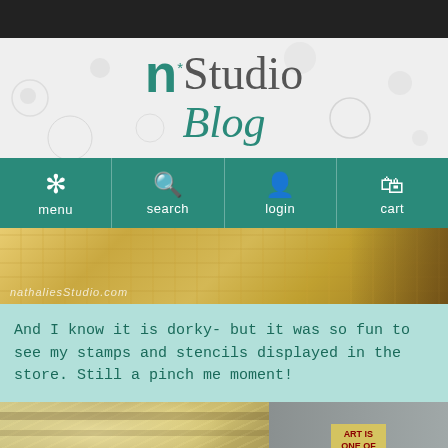n*Studio Blog
[Figure (screenshot): Navigation bar with menu, search, login, cart icons on teal background]
[Figure (photo): Close-up photo of person wearing yellow top with nathaliesstudio.com watermark]
And I know it is dorky- but it was so fun to see my stamps and stencils displayed in the store. Still a pinch me moment!
[Figure (photo): Photo of store interior showing ceiling lights and a sign reading ART IS ONE OF THINGS]